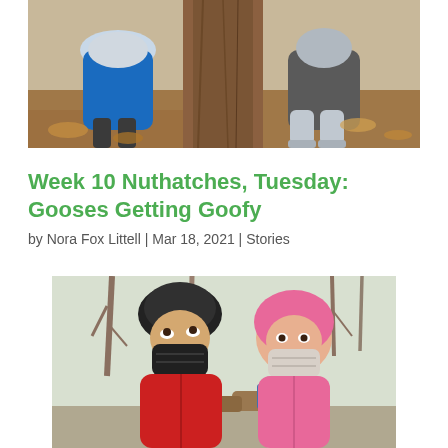[Figure (photo): Two children in winter jackets standing near a large tree trunk with fallen leaves on the ground. One child wears a blue jacket, the other wears dark clothing with gray snow boots.]
Week 10 Nuthatches, Tuesday: Gooses Getting Goofy
by Nora Fox Littell | Mar 18, 2021 | Stories
[Figure (photo): Two young children in winter gear standing outdoors in a wooded area. A boy in a red jacket wearing a dark face mask looks upward, and a girl in a pink jacket with a light-colored face mask looks at the camera. Bare trees are visible in the background.]